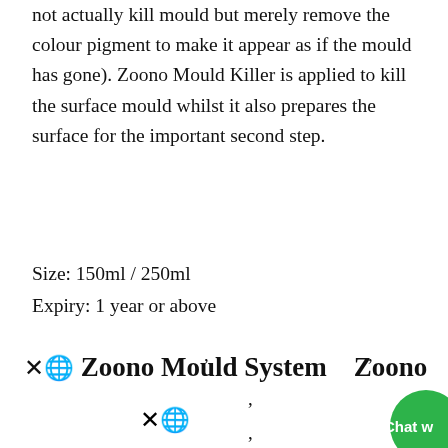not actually kill mould but merely remove the colour pigment to make it appear as if the mould has gone). Zoono Mould Killer is applied to kill the surface mould whilst it also prepares the surface for the important second step.
Size: 150ml / 250ml
Expiry: 1 year or above
✕🌐 Zoono Mould System    Zoono
[Figure (other): Emoji icon: cross and globe symbol (✕🌐)]
, , , , ,
[Figure (other): Chat widget circle icon in bottom right corner with text 'Chat w']